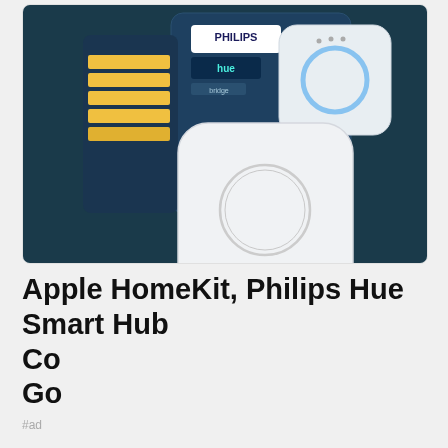[Figure (photo): Philips Hue Smart Hub Bridge product photo showing the white square hub device in front of its dark blue retail packaging box]
Apple HomeKit, Philips Hue Smart Hub Co... Go...
As an Amazon Associate I earn from qualifying purchases. This website uses the only necessary cookies to ensure you get the best experience on our website. More information
#ad